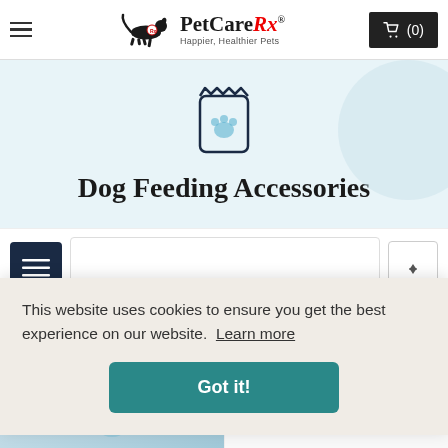PetCareRx — Happier, Healthier Pets — Cart (0)
[Figure (illustration): Pet food bag icon with paw print, outline style, on light blue background]
Dog Feeding Accessories
[Figure (screenshot): Filter/hamburger button (dark navy) in filter bar area with sort dropdown stub]
This website uses cookies to ensure you get the best experience on our website. Learn more
Got it!
[Figure (photo): Partial product image at bottom of page — appears to be a dog-related product]